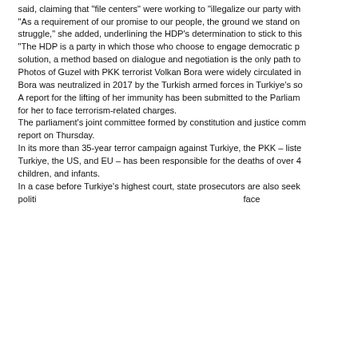said, claiming that 'file centers' were working to 'illegalize our party with
"As a requirement of our promise to our people, the ground we stand on
struggle," she added, underlining the HDP's determination to stick to this
"The HDP is a party in which those who choose to engage democratic p
solution, a method based on dialogue and negotiation is the only path to
Photos of Guzel with PKK terrorist Volkan Bora were widely circulated in
Bora was neutralized in 2017 by the Turkish armed forces in Turkiye's so
A report for the lifting of her immunity has been submitted to the Parliam
for her to face terrorism-related charges.
The parliament's joint committee formed by constitution and justice comm
report on Thursday.
In its more than 35-year terror campaign against Turkiye, the PKK – liste
Turkiye, the US, and EU – has been responsible for the deaths of over 4
children, and infants.
In a case before Turkiye's highest court, state prosecutors are also seek
politi ... face
[Figure (screenshot): Cookie consent popup overlay with text about cookies, KVKK and GDPR data policy, Data Policy / Disclosure Text link, and a red X close button.]
In order to provide you with a better service, we position cookies on our site. Your personal data is collected and processed within the scope of KVKK and GDPR. For detailed information, you can review our Data Policy / Disclosure Text. By using our site, you agree to our use of cookies.
▼ L
■ Chile Overwhelmingly Rejects New Progressive Constitution
With counting nearly complete, rejection camp has 62% of votes co...